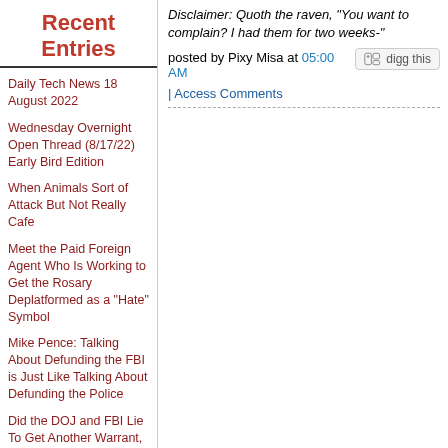Disclaimer: Quoth the raven, "You want to complain? I had them for two weeks-"
[Figure (other): Digg this button]
posted by Pixy Misa at 05:00 AM
| Access Comments
Recent Entries
Daily Tech News 18 August 2022
Wednesday Overnight Open Thread (8/17/22) Early Bird Edition
When Animals Sort of Attack But Not Really Cafe
Meet the Paid Foreign Agent Who Is Working to Get the Rosary Deplatformed as a "Hate" Symbol
Mike Pence: Talking About Defunding the FBI is Just Like Talking About Defunding the Police
Did the DOJ and FBI Lie To Get Another Warrant, This One to Recover Documents Exposing Their Crimes In Getting the Previous Fraudulent Russiagate Warrants?
John Hayward: NeverTrump Supports Authoritarianism While Pretending to Fight It.